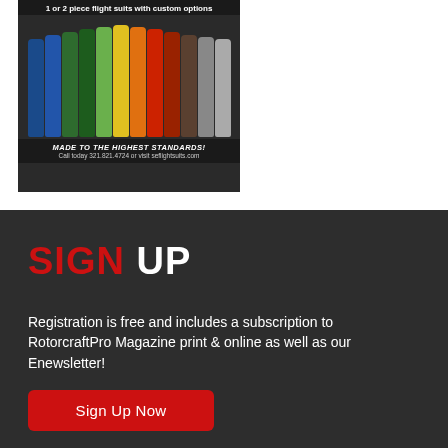[Figure (photo): Advertisement for flight suits showing a row of colorful flight suits in various colors (blue, green, yellow, orange, red, gray) with text '1 or 2 piece flight suits with custom options', 'MADE TO THE HIGHEST STANDARDS!', and contact info 'Call today 321.821.4724 or visit seflightsuits.com']
SIGN UP
Registration is free and includes a subscription to RotorcraftPro Magazine print & online as well as our Enewsletter!
Sign Up Now